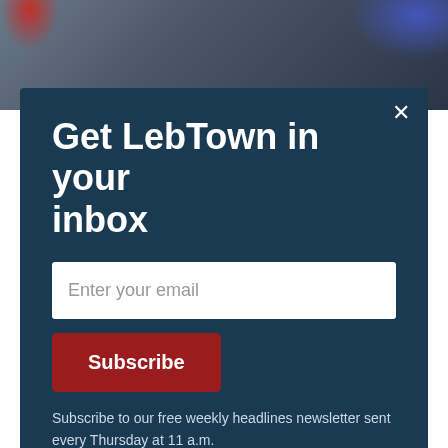[Figure (photo): Partial photo of a person in a suit holding a microphone, with red and blue stage lights visible in the background. Photo is partially obscured by the newsletter modal overlay.]
Get LebTown in your inbox
Enter your email
Subscribe
Subscribe to our free weekly headlines newsletter sent every Thursday at 11 a.m.
vaccine mandates, and his work to overturn the results of the 2020 election. His religious appeals